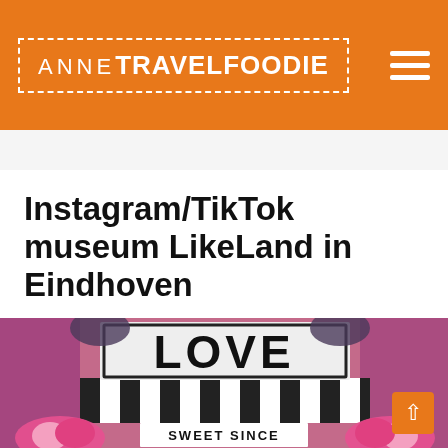ANNE TRAVELFOODIE
Instagram/TikTok museum LikeLand in Eindhoven
[Figure (photo): Photo of a LikeLand museum installation featuring a large LOVE sign with plants, a striped awning, and flowers. Text reads SWEET SINCE at the bottom.]